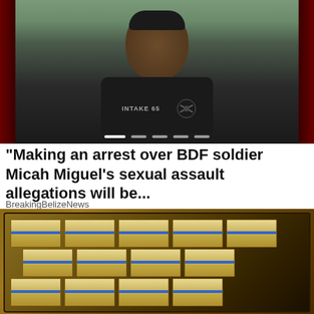[Figure (photo): Photo of BDF soldier Micah Miguel wearing a black shirt with 'INTAKE 65' text and a logo, against a blurred background. Red decorative side panels flank the image. Slider navigation dots visible at the bottom of the image.]
"Making an arrest over BDF soldier Micah Miguel's sexual assault allegations will be...
BreakingBelizeNews
[Figure (photo): Photo of an open briefcase filled with bundled stacks of US dollar bills wrapped with blue bands, placed on a reddish-brown surface.]